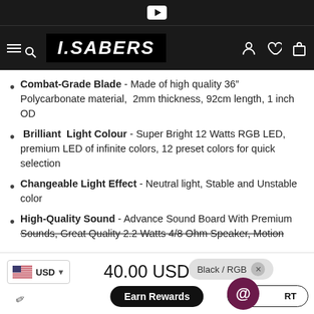I.SABERS navigation header with logo, hamburger menu, search, account, wishlist, and cart icons
Combat-Grade Blade - Made of high quality 36" Polycarbonate material,  2mm thickness, 92cm length, 1 inch OD
Brilliant Light Colour - Super Bright 12 Watts RGB LED, premium LED of infinite colors, 12 preset colors for quick selection
Changeable Light Effect - Neutral light, Stable and Unstable color
High-Quality Sound - Advance Sound Board With Premium Sounds, Great Quality 2.2 Watts 4/8 Ohm Speaker, Motion
USD  40.00 USD  Black / RGB  ADD TO CART  Earn Rewards